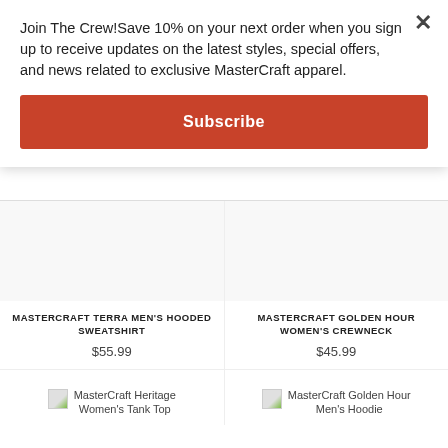Join The Crew!Save 10% on your next order when you sign up to receive updates on the latest styles, special offers, and news related to exclusive MasterCraft apparel.
Subscribe
MASTERCRAFT TERRA MEN'S HOODED SWEATSHIRT
$55.99
MASTERCRAFT GOLDEN HOUR WOMEN'S CREWNECK
$45.99
[Figure (photo): MasterCraft Heritage Women's Tank Top product image placeholder]
MasterCraft Heritage Women's Tank Top
[Figure (photo): MasterCraft Golden Hour Men's Hoodie product image placeholder]
MasterCraft Golden Hour Men's Hoodie